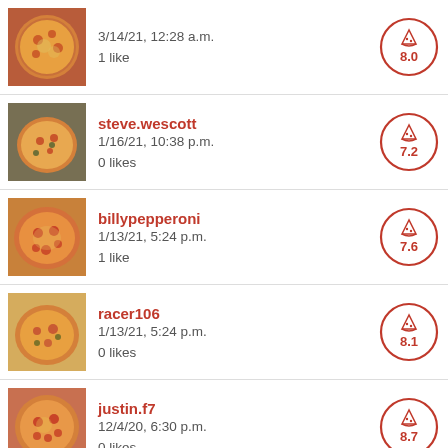3/14/21, 12:28 a.m. | 1 like | Score: 8.0
steve.wescott | 1/16/21, 10:38 p.m. | 0 likes | Score: 7.2
billypepperoni | 1/13/21, 5:24 p.m. | 1 like | Score: 7.6
racer106 | 1/13/21, 5:24 p.m. | 0 likes | Score: 8.1
justin.f7 | 12/4/20, 6:30 p.m. | 0 likes | Score: 8.7